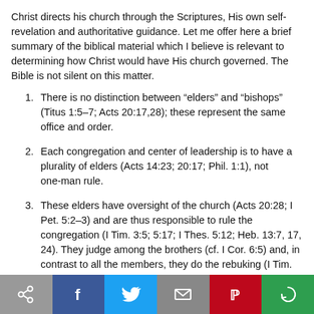Christ directs his church through the Scriptures, His own self-revelation and authoritative guidance. Let me offer here a brief summary of the biblical material which I believe is relevant to determining how Christ would have His church governed. The Bible is not silent on this matter.
There is no distinction between “elders” and “bishops” (Titus 1:5–7; Acts 20:17,28); these represent the same office and order.
Each congregation and center of leadership is to have a plurality of elders (Acts 14:23; 20:17; Phil. 1:1), not one-man rule.
These elders have oversight of the church (Acts 20:28; I Pet. 5:2–3) and are thus responsible to rule the congregation (I Tim. 3:5; 5:17; I Thes. 5:12; Heb. 13:7, 17, 24). They judge among the brothers (cf. I Cor. 6:5) and, in contrast to all the members, they do the rebuking (I Tim. 5:20). Christ calls them to use the “keys of the kingdom” to bind and loose (Matt.16:19; 18: 18; John 20: 23)—these keys being the preaching of